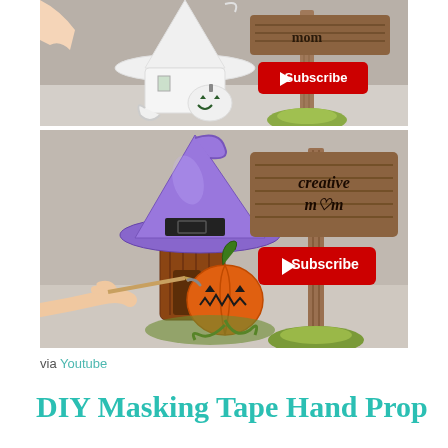[Figure (photo): Top photo showing an unpainted white clay Halloween witch hat house with a jack-o-lantern and a wooden sign post with a red YouTube Subscribe button, next to a hand.]
[Figure (photo): Bottom photo showing a painted colorful Halloween witch hat house with a purple witch hat, orange jack-o-lantern, and a wooden sign reading 'creative mom' with a red YouTube Subscribe button. A hand holds a paintbrush touching the figurine.]
via Youtube
DIY Masking Tape Hand Prop